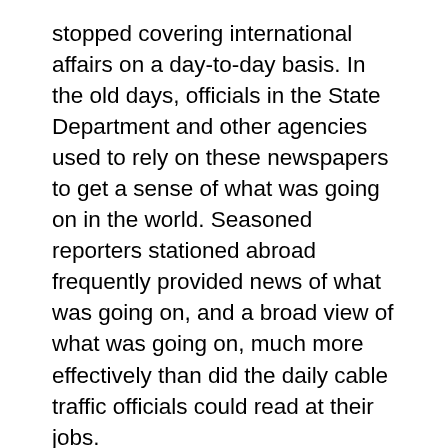stopped covering international affairs on a day-to-day basis. In the old days, officials in the State Department and other agencies used to rely on these newspapers to get a sense of what was going on in the world. Seasoned reporters stationed abroad frequently provided news of what was going on, and a broad view of what was going on, much more effectively than did the daily cable traffic officials could read at their jobs.
This is no longer the case. While papers such as the New York Times may still have a few experienced reporters stationed in key foreign capitals, they do not have the seasoned editors who will print all of the stories, or the stories they might have been tasked to write if such seasoned editors still